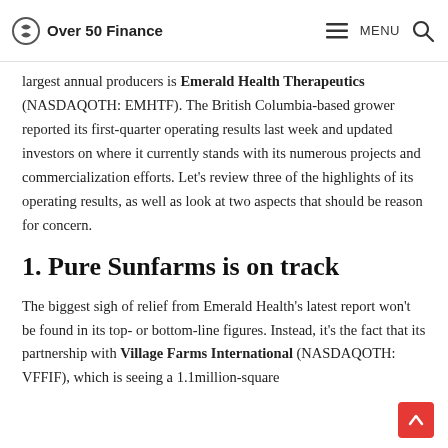Over 50 Finance  MENU
largest annual producers is Emerald Health Therapeutics (NASDAQOTH: EMHTF). The British Columbia-based grower reported its first-quarter operating results last week and updated investors on where it currently stands with its numerous projects and commercialization efforts. Let's review three of the highlights of its operating results, as well as look at two aspects that should be reason for concern.
1. Pure Sunfarms is on track
The biggest sigh of relief from Emerald Health's latest report won't be found in its top- or bottom-line figures. Instead, it's the fact that its partnership with Village Farms International (NASDAQOTH: VFFIF), which is seeing a 1.1million-square